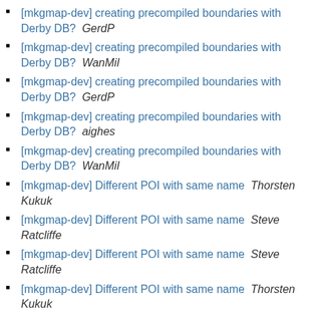[mkgmap-dev] creating precompiled boundaries with Derby DB?  GerdP
[mkgmap-dev] creating precompiled boundaries with Derby DB?  WanMil
[mkgmap-dev] creating precompiled boundaries with Derby DB?  GerdP
[mkgmap-dev] creating precompiled boundaries with Derby DB?  aighes
[mkgmap-dev] creating precompiled boundaries with Derby DB?  WanMil
[mkgmap-dev] Different POI with same name  Thorsten Kukuk
[mkgmap-dev] Different POI with same name  Steve Ratcliffe
[mkgmap-dev] Different POI with same name  Steve Ratcliffe
[mkgmap-dev] Different POI with same name  Thorsten Kukuk
[mkgmap-dev] Different POI with same name  Steve